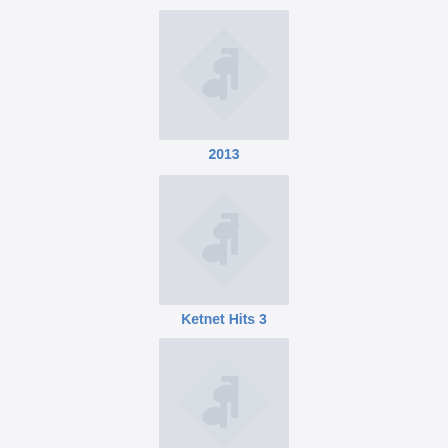[Figure (illustration): Music album placeholder image with musical note icon on grey background]
2013
[Figure (illustration): Music album placeholder image with musical note icon on grey background]
Ketnet Hits 3
[Figure (illustration): Music album placeholder image with musical note icon on grey background, partially visible]